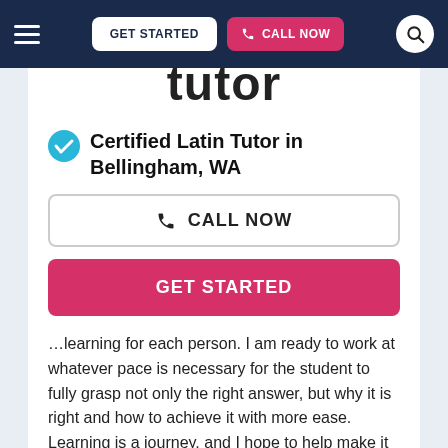GET STARTED  CALL NOW
tutor
Certified Latin Tutor in Bellingham, WA
CALL NOW
GET STARTED
…learning for each person. I am ready to work at whatever pace is necessary for the student to fully grasp not only the right answer, but why it is right and how to achieve it with more ease. Learning is a journey, and I hope to help make it one full of wonder and excitement.